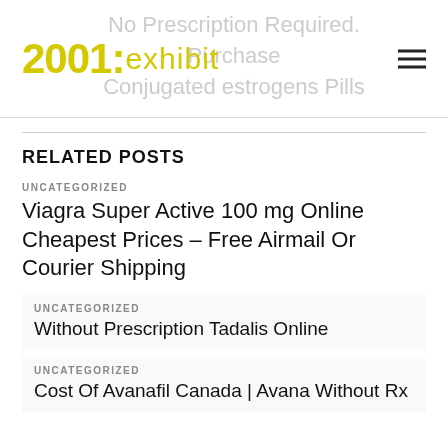2001:exhibit | No Prescription Required. Purchase Conjugated estrogens Pills
RELATED POSTS
UNCATEGORIZED
Viagra Super Active 100 mg Online Cheapest Prices – Free Airmail Or Courier Shipping
UNCATEGORIZED
Without Prescription Tadalis Online
UNCATEGORIZED
Cost Of Avanafil Canada | Avana Without Rx